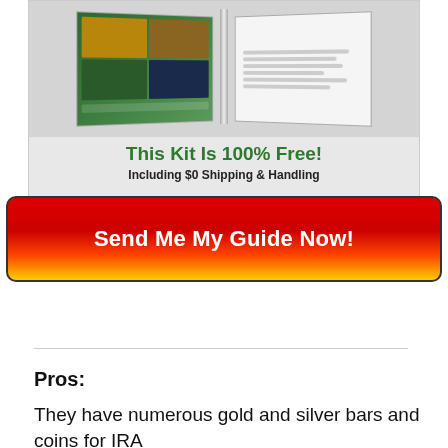[Figure (photo): Open book/magazine spread showing gold and silver investment guide with grid of images on left page and text/timeline on right page. Below the book: 'This Kit Is 100% Free!' in green bold, and 'Including $0 Shipping & Handling' in bold dark text.]
Send Me My Guide Now!
Pros:
They have numerous gold and silver bars and coins for IRA